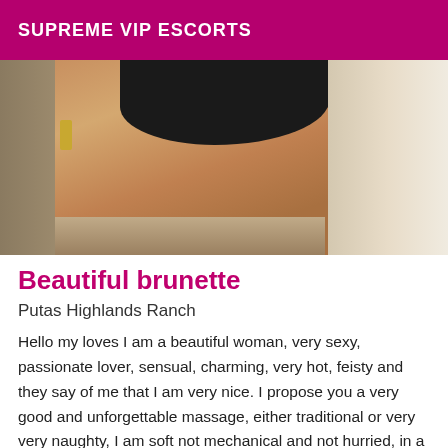SUPREME VIP ESCORTS
[Figure (photo): Photo of a woman in black underwear bending forward, cropped torso view, indoor setting with door and decorative wall]
Beautiful brunette
Putas Highlands Ranch
Hello my loves I am a beautiful woman, very sexy, passionate lover, sensual, charming, very hot, feisty and they say of me that I am very nice. I propose you a very good and unforgettable massage, either traditional or very very naughty, I am soft not mechanical and not hurried, in a very comfortable, clean and with all the